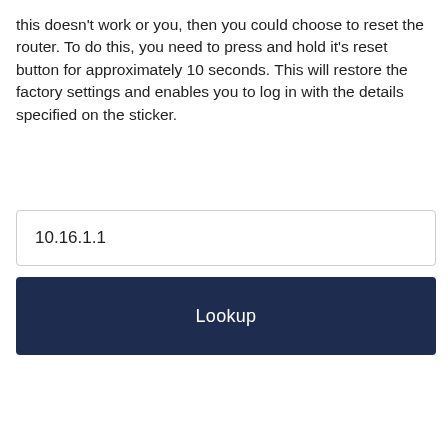this doesn't work or you, then you could choose to reset the router. To do this, you need to press and hold it's reset button for approximately 10 seconds. This will restore the factory settings and enables you to log in with the details specified on the sticker.
10.16.1.1
Lookup